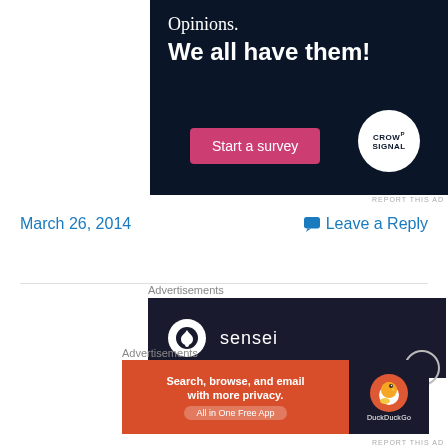[Figure (illustration): CrowdSignal advertisement on dark navy background with text 'Opinions. We all have them!', a pink 'Start a survey' button, and the CrowdSignal logo in a white circle]
REPORT THIS AD
March 26, 2014
Leave a Reply
Advertisements
[Figure (logo): Sensei advertisement on dark navy background showing a white circle with a tree/sensei icon and the text 'sensei']
Advertisements
[Figure (illustration): DuckDuckGo advertisement with orange left panel saying 'Search, browse, and email with more privacy. All in One Free App' and dark right panel with DuckDuckGo duck logo]
REPORT THIS AD